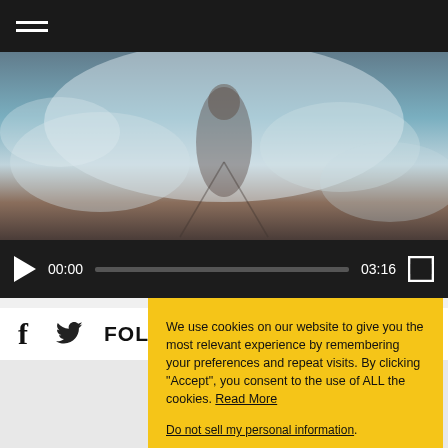[Figure (screenshot): Website header with hamburger menu icon on dark background]
[Figure (photo): Video thumbnail showing a figure in cloudy sky scene]
[Figure (screenshot): Video player controls bar showing play button, 00:00 timestamp, progress bar, 03:16 duration, and fullscreen button]
f (Facebook icon)  (Twitter icon)  FOL... (FOLLOW partial text)
We use cookies on our website to give you the most relevant experience by remembering your preferences and repeat visits. By clicking “Accept”, you consent to the use of ALL the cookies. Read More
Do not sell my personal information.
Cookie Settings
Accept